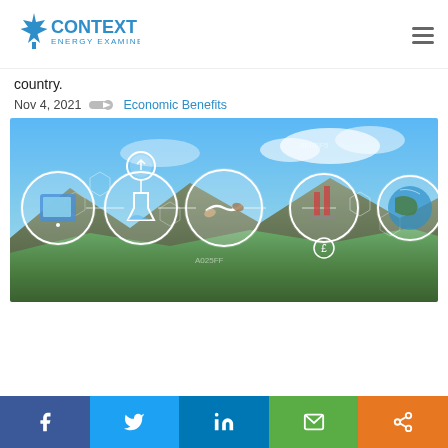[Figure (logo): Context Energy Examined logo with maple leaf and blue text]
country.
Nov 4, 2021    Economic Benefits
[Figure (photo): Infographic-style photo combining mountain landscape with sky and circular icons showing technology, science, handshake, industry, and earth, connected by hexagonal network patterns]
Social sharing bar: Facebook, Twitter, LinkedIn, Email, Share